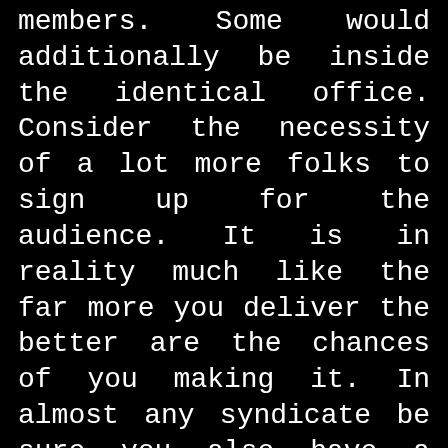members. Some would additionally be inside the identical office. Consider the necessity of a lot more folks to sign up for the audience. It is in reality much like the far more you deliver the better are the chances of you making it. In almost any syndicate be sure you also have a history to go by important specifics. Because of the development of technological know-how along with the tempo of mankind, an [link] 17 1 64 syndicate is most preferred. On this page a middleman would serve for every participant. He is definitely the a person to recognize the repayment or even supply the evaluations after every